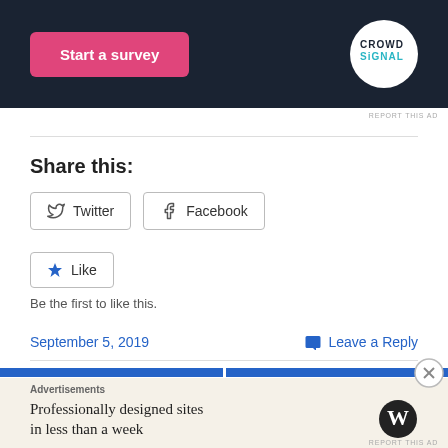[Figure (screenshot): Dark navy advertisement banner with a pink 'Start a survey' button and Crowdsignal logo in a white circle]
REPORT THIS AD
Share this:
Twitter  Facebook
Like  Be the first to like this.
September 5, 2019
Leave a Reply
[Figure (screenshot): WordPress advertisement: Professionally designed sites in less than a week]
REPORT THIS AD